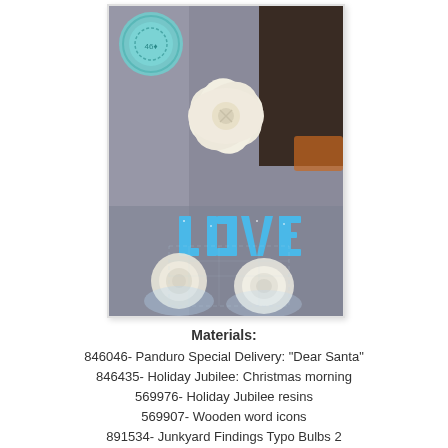[Figure (photo): Close-up photo of a floral arrangement with cream/white fabric flowers, blue glittery LOVE letters, a round teal medallion embellishment, lace netting, and dark background elements. Winter/holiday themed decorative arrangement.]
Materials:
846046- Panduro Special Delivery: "Dear Santa"
846435- Holiday Jubilee: Christmas morning
569976- Holiday Jubilee resins
569907- Wooden word icons
891534- Junkyard Findings Typo Bulbs 2
571825- Abbey flowers: blue
571955- Holiday Jubilee white flowers